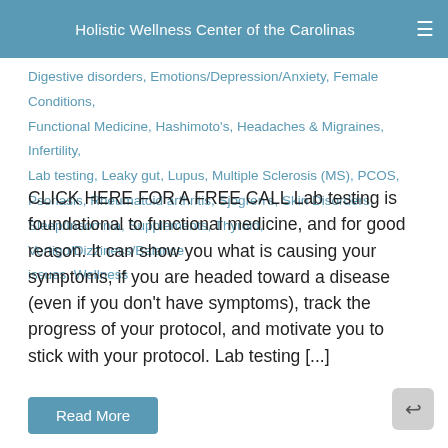Holistic Wellness Center of the Carolinas
Digestive disorders, Emotions/Depression/Anxiety, Female Conditions, Functional Medicine, Hashimoto's, Headaches & Migraines, Infertility, Lab testing, Leaky gut, Lupus, Multiple Sclerosis (MS), PCOS, Psoriasis, Rheumatoid arthritis, Sjogren's, Skin Disorders, Sleep/Insomnia, Supplements, Thyroid, Vertigo/Dizziness/Balance issues, Wellness
CLICK HERE FOR A FREE CALL Lab testing is foundational to functional medicine, and for good reason. It can show you what is causing your symptoms, if you are headed toward a disease (even if you don't have symptoms), track the progress of your protocol, and motivate you to stick with your protocol. Lab testing [...]